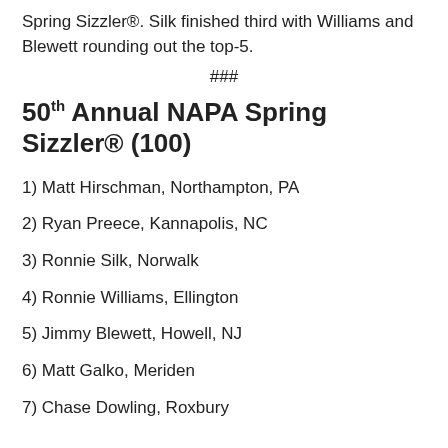Spring Sizzler®. Silk finished third with Williams and Blewett rounding out the top-5.
###
50th Annual NAPA Spring Sizzler® (100)
1) Matt Hirschman, Northampton, PA
2) Ryan Preece, Kannapolis, NC
3) Ronnie Silk, Norwalk
4) Ronnie Williams, Ellington
5) Jimmy Blewett, Howell, NJ
6) Matt Galko, Meriden
7) Chase Dowling, Roxbury